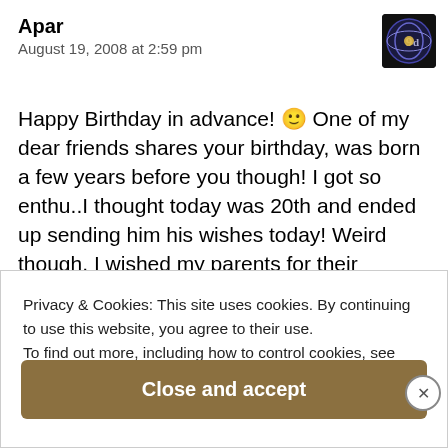Apar
August 19, 2008 at 2:59 pm
[Figure (illustration): User avatar icon with circular blue/gold design on dark background]
Happy Birthday in advance! 🙂 One of my dear friends shares your birthday, was born a few years before you though! I got so enthu..I thought today was 20th and ended up sending him his wishes today! Weird though, I wished my parents for their anniversary today!! That happens to be today! My mind the maze that it always
Privacy & Cookies: This site uses cookies. By continuing to use this website, you agree to their use.
To find out more, including how to control cookies, see here:
Cookie Policy
Close and accept